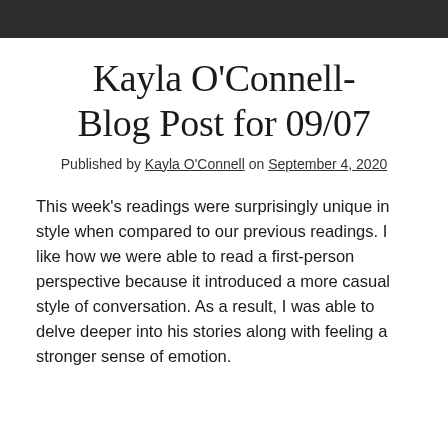Kayla O'Connell- Blog Post for 09/07
Published by Kayla O'Connell on September 4, 2020
This week's readings were surprisingly unique in style when compared to our previous readings. I like how we were able to read a first-person perspective because it introduced a more casual style of conversation. As a result, I was able to delve deeper into his stories along with feeling a stronger sense of emotion.